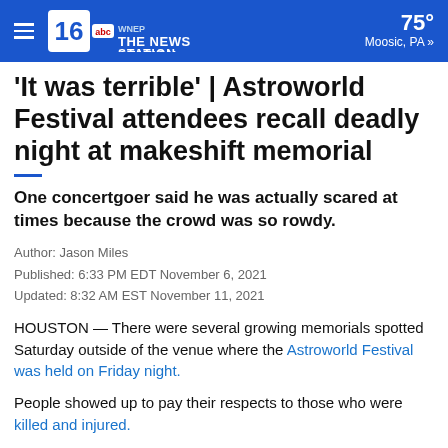WNEP 16 THE NEWS STATION | 75° Moosic, PA »
'It was terrible' | Astroworld Festival attendees recall deadly night at makeshift memorial
One concertgoer said he was actually scared at times because the crowd was so rowdy.
Author: Jason Miles
Published: 6:33 PM EDT November 6, 2021
Updated: 8:32 AM EST November 11, 2021
HOUSTON — There were several growing memorials spotted Saturday outside of the venue where the Astroworld Festival was held on Friday night.
People showed up to pay their respects to those who were killed and injured.